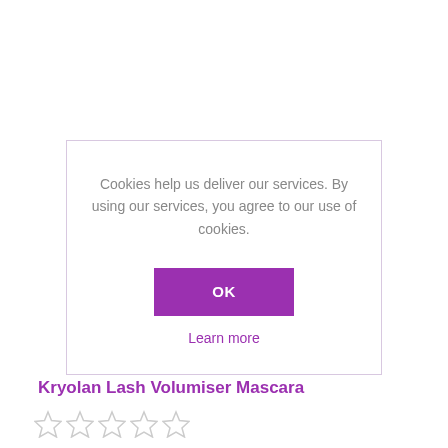Cookies help us deliver our services. By using our services, you agree to our use of cookies.
OK
Learn more
Kryolan Lash Volumiser Mascara
[Figure (other): Five empty star rating icons in a row]